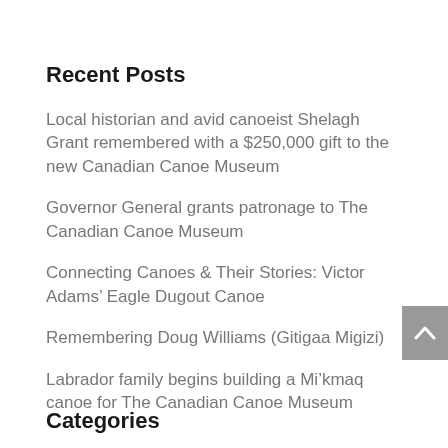Recent Posts
Local historian and avid canoeist Shelagh Grant remembered with a $250,000 gift to the new Canadian Canoe Museum
Governor General grants patronage to The Canadian Canoe Museum
Connecting Canoes & Their Stories: Victor Adams’ Eagle Dugout Canoe
Remembering Doug Williams (Gitigaa Migizi)
Labrador family begins building a Mi’kmaq canoe for The Canadian Canoe Museum
Categories